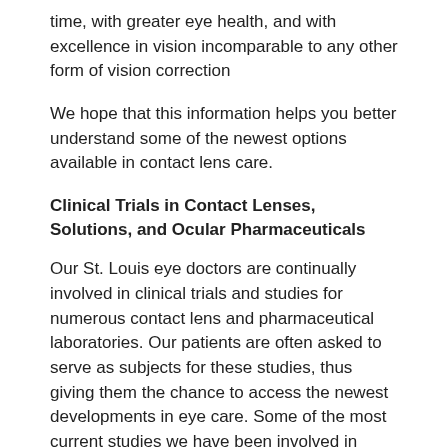time, with greater eye health, and with excellence in vision incomparable to any other form of vision correction
We hope that this information helps you better understand some of the newest options available in contact lens care.
Clinical Trials in Contact Lenses, Solutions, and Ocular Pharmaceuticals
Our St. Louis eye doctors are continually involved in clinical trials and studies for numerous contact lens and pharmaceutical laboratories. Our patients are often asked to serve as subjects for these studies, thus giving them the chance to access the newest developments in eye care. Some of the most current studies we have been involved in include:
Ortho-K.
30-day Continuous wear contact lenses.
Disposable astigmatic contact lenses.
Multifocal/Bifocal soft and rigid contact lenses.